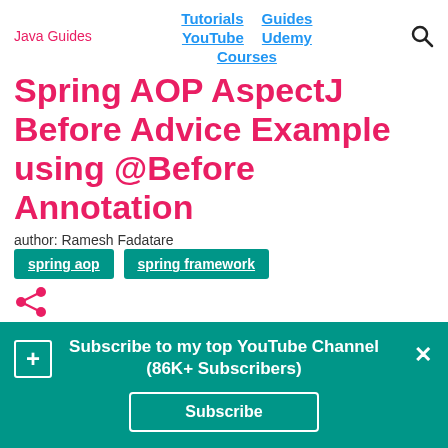Java Guides    Tutorials  Guides  YouTube  Udemy  Courses
Spring AOP AspectJ Before Advice Example using @Before Annotation
author: Ramesh Fadatare
spring aop
spring framework
In this Spring AOP example, we will learn to use
Subscribe to my top YouTube Channel (86K+ Subscribers)